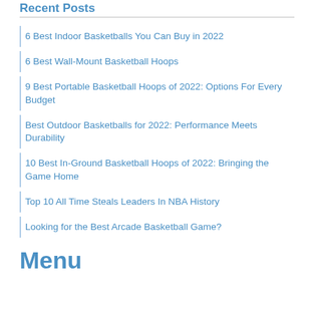Recent Posts
6 Best Indoor Basketballs You Can Buy in 2022
6 Best Wall-Mount Basketball Hoops
9 Best Portable Basketball Hoops of 2022: Options For Every Budget
Best Outdoor Basketballs for 2022: Performance Meets Durability
10 Best In-Ground Basketball Hoops of 2022: Bringing the Game Home
Top 10 All Time Steals Leaders In NBA History
Looking for the Best Arcade Basketball Game?
Menu